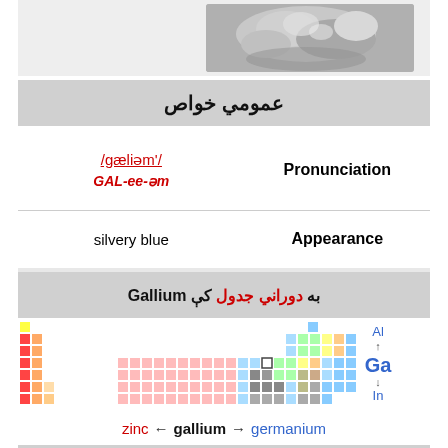[Figure (photo): Photograph of gallium metal, showing silvery metallic lumps/crystals with reflective surface]
عمومي خواص
| Value | Property |
| --- | --- |
| /gæliəm'/
GAL-ee-əm | Pronunciation |
| silvery blue | Appearance |
Gallium به دوراني جدول کې
[Figure (infographic): Periodic table of elements with Gallium (Ga) highlighted, showing Al above and In below, with colored blocks representing element categories]
zinc ← gallium → germanium
31 ...